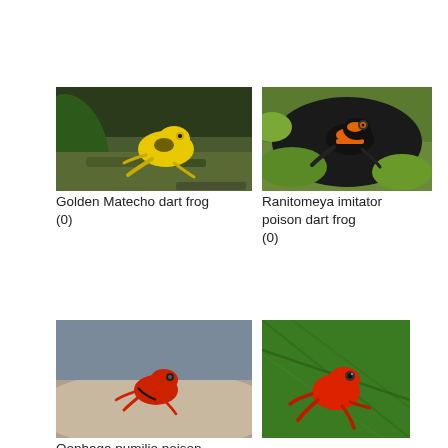[Figure (photo): Golden Matecho dart frog - yellow and black poison dart frog on rocky/mossy ground]
Golden Matecho dart frog
(0)
[Figure (photo): Ranitomeya imitator poison dart frog - black and orange/yellow frog on mossy rock]
Ranitomeya imitator poison dart frog
(0)
[Figure (photo): Oophaga pumilio poison dart frog - small red frog on a hand]
Oophaga pumilio poison
[Figure (photo): Small red/orange frog on green leaf]